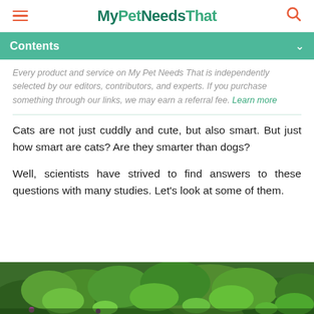MyPetNeedsThat
Contents
Every product and service on My Pet Needs That is independently selected by our editors, contributors, and experts. If you purchase something through our links, we may earn a referral fee. Learn more
Cats are not just cuddly and cute, but also smart. But just how smart are cats? Are they smarter than dogs?
Well, scientists have strived to find answers to these questions with many studies. Let's look at some of them.
[Figure (photo): Green plants and foliage background photo]